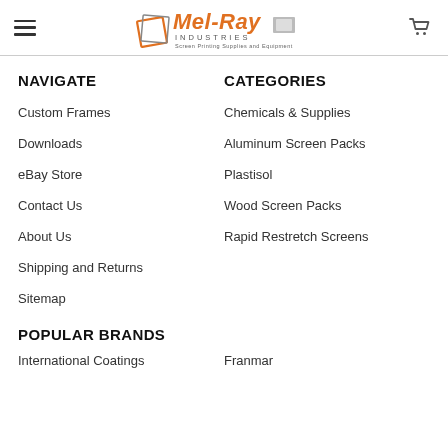[Figure (logo): Mel-Ray Industries logo with hamburger menu and cart icon in header]
NAVIGATE
CATEGORIES
Custom Frames
Chemicals & Supplies
Downloads
Aluminum Screen Packs
eBay Store
Plastisol
Contact Us
Wood Screen Packs
About Us
Rapid Restretch Screens
Shipping and Returns
Sitemap
POPULAR BRANDS
International Coatings
Franmar